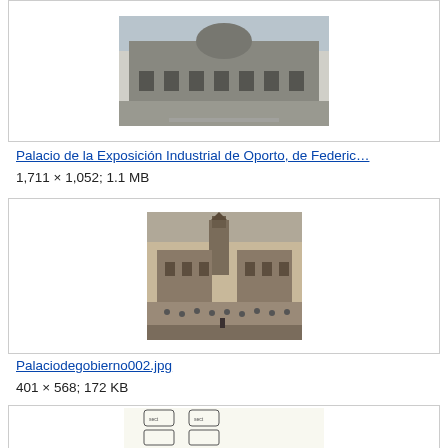[Figure (photo): Historical photograph of a large ornate building (Palacio de la Exposición Industrial de Oporto), partially visible, cropped at top]
Palacio de la Exposición Industrial de Oporto, de Federic…
1,711 × 1,052; 1.1 MB
[Figure (photo): Sepia-toned historical photograph of a government palace building (Palaciodegobierno002.jpg) with a crowd in front and a tower visible]
Palaciodegobierno002.jpg
401 × 568; 172 KB
[Figure (illustration): Technical diagram or illustration showing pairs of architectural cross-section drawings, partially visible at bottom of page]